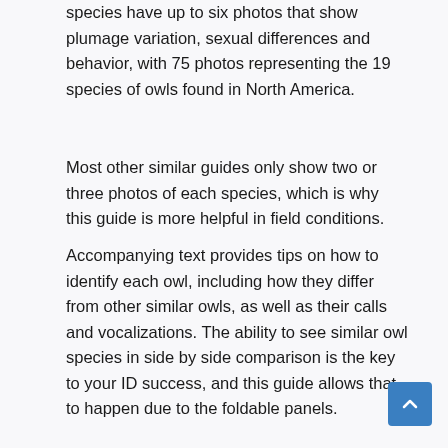species have up to six photos that show plumage variation, sexual differences and behavior, with 75 photos representing the 19 species of owls found in North America.
Most other similar guides only show two or three photos of each species, which is why this guide is more helpful in field conditions.
Accompanying text provides tips on how to identify each owl, including how they differ from other similar owls, as well as their calls and vocalizations. The ability to see similar owl species in side by side comparison is the key to your ID success, and this guide allows that to happen due to the foldable panels.